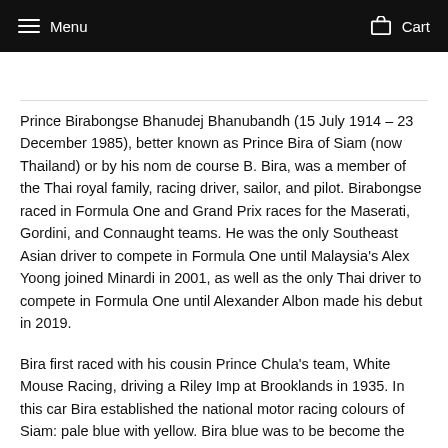Menu  Cart
Prince Birabongse Bhanudej Bhanubandh (15 July 1914 – 23 December 1985), better known as Prince Bira of Siam (now Thailand) or by his nom de course B. Bira, was a member of the Thai royal family, racing driver, sailor, and pilot. Birabongse raced in Formula One and Grand Prix races for the Maserati, Gordini, and Connaught teams. He was the only Southeast Asian driver to compete in Formula One until Malaysia's Alex Yoong joined Minardi in 2001, as well as the only Thai driver to compete in Formula One until Alexander Albon made his debut in 2019.
Bira first raced with his cousin Prince Chula's team, White Mouse Racing, driving a Riley Imp at Brooklands in 1935. In this car Bira established the national motor racing colours of Siam: pale blue with yellow. Bira blue was to be become the